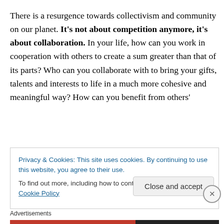There is a resurgence towards collectivism and community on our planet. It's not about competition anymore, it's about collaboration. In your life, how can you work in cooperation with others to create a sum greater than that of its parts? Who can you collaborate with to bring your gifts, talents and interests to life in a much more cohesive and meaningful way? How can you benefit from others'
Privacy & Cookies: This site uses cookies. By continuing to use this website, you agree to their use.
To find out more, including how to control cookies, see here: Cookie Policy
Close and accept
Advertisements